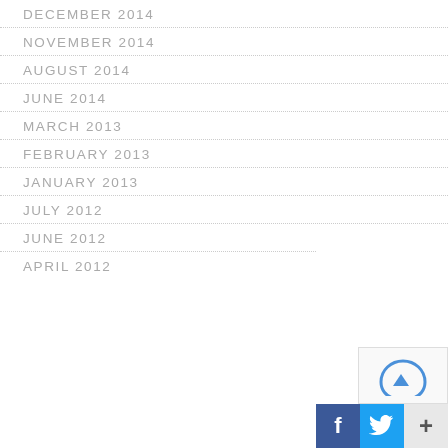DECEMBER 2014
NOVEMBER 2014
AUGUST 2014
JUNE 2014
MARCH 2013
FEBRUARY 2013
JANUARY 2013
JULY 2012
JUNE 2012
APRIL 2012